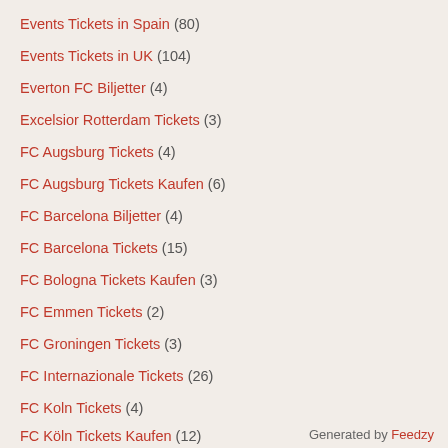Events Tickets in Spain (80)
Events Tickets in UK (104)
Everton FC Biljetter (4)
Excelsior Rotterdam Tickets (3)
FC Augsburg Tickets (4)
FC Augsburg Tickets Kaufen (6)
FC Barcelona Biljetter (4)
FC Barcelona Tickets (15)
FC Bologna Tickets Kaufen (3)
FC Emmen Tickets (2)
FC Groningen Tickets (3)
FC Internazionale Tickets (26)
FC Koln Tickets (4)
FC Köln Tickets Kaufen (12)
Generated by Feedzy